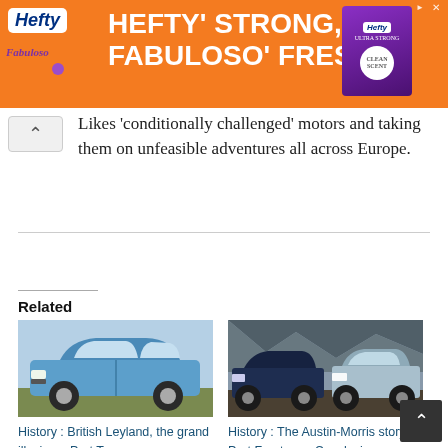[Figure (other): Hefty and Fabuloso advertisement banner with orange background, white bold text reading HEFTY' STRONG, FABULOSO' FRESH, product box image on right]
Likes 'conditionally challenged' motors and taking them on unfeasible adventures all across Europe.
Related
[Figure (photo): Blue classic British Leyland car in a promotional studio photo]
History : British Leyland, the grand illusion – Part Two
4 January 2014
In "British Leyland - The
[Figure (photo): Two classic Austin-Morris cars photographed outdoors in rocky terrain]
History : The Austin-Morris story – Part Fourteen : Conclusion
15 December 2021
In "The Austin-Morris